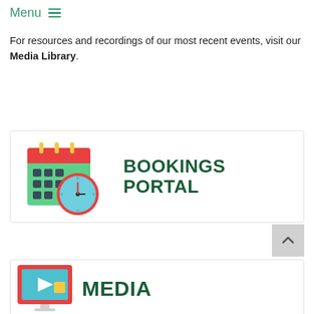Menu ≡
For resources and recordings of our most recent events, visit our Media Library.
[Figure (illustration): Bookings Portal banner with calendar and clock icon and text BOOKINGS PORTAL in dark green]
[Figure (illustration): Media section banner with video player icon and text MEDIA]